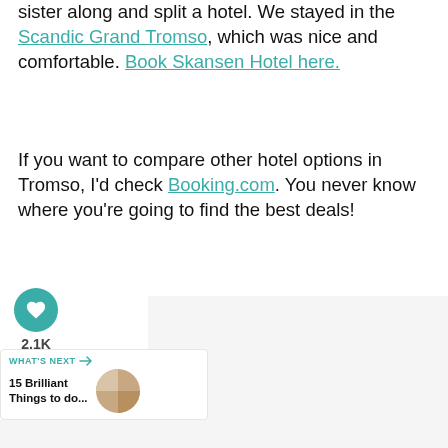sister along and split a hotel. We stayed in the Scandic Grand Tromso, which was nice and comfortable. Book Skansen Hotel here.
If you want to compare other hotel options in Tromso, I'd check Booking.com. You never know where you're going to find the best deals!
[Figure (other): Social interaction buttons: a teal heart/like button, a 2.1K count label, and a share button]
WHAT'S NEXT → 15 Brilliant Things to do...